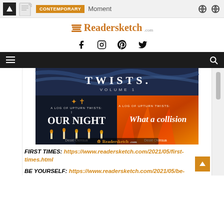CONTEMPORARY Moment
[Figure (logo): Readersketch.com logo with book/stack icon in orange]
[Figure (infographic): Social media icons: Facebook, Instagram, Pinterest, Twitter]
[Figure (screenshot): Navigation bar with hamburger menu and search icon on dark background]
[Figure (photo): Book cover images for 'A Log of Upturn Twists: Volume 1' showing 'Our Night' and 'What a collision' with Readersketch.com watermark]
FIRST TIMES: https://www.readersketch.com/2021/05/first-times.html
BE YOURSELF: https://www.readersketch.com/2021/05/be-